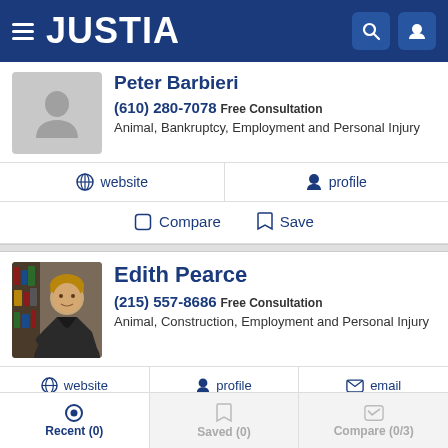JUSTIA
Peter Barbieri
(610) 280-7078 Free Consultation
Animal, Bankruptcy, Employment and Personal Injury
website | profile
Compare | Save
Edith Pearce
(215) 557-8686 Free Consultation
Animal, Construction, Employment and Personal Injury
website | profile | email
Compare | Save
Recent (0) | Saved (0) | Compare (0/3)